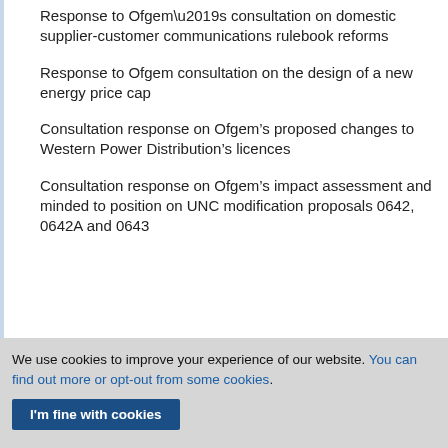Response to Ofgem’s consultation on domestic supplier-customer communications rulebook reforms
Response to Ofgem consultation on the design of a new energy price cap
Consultation response on Ofgem’s proposed changes to Western Power Distribution’s licences
Consultation response on Ofgem’s impact assessment and minded to position on UNC modification proposals 0642, 0642A and 0643
We use cookies to improve your experience of our website. You can find out more or opt-out from some cookies.